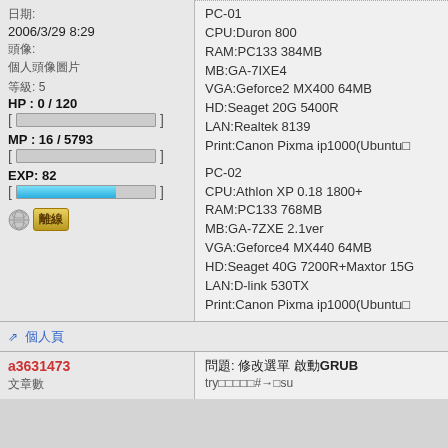日期: 2006/3/29 8:29
頭像:
等級: 5
HP : 0 / 120
MP : 16 / 5793
EXP: 82
[Figure (other): Offline status badge with globe icon and Chinese text 離線]
PC-01
CPU:Duron 800
RAM:PC133 384MB
MB:GA-7IXE4
VGA:Geforce2 MX400 64MB
HD:Seaget 20G 5400R
LAN:Realtek 8139
Print:Canon Pixma ip1000(Ubuntu□
PC-02
CPU:Athlon XP 0.18 1800+
RAM:PC133 768MB
MB:GA-7ZXE 2.1ver
VGA:Geforce4 MX440 64MB
HD:Seaget 40G 7200R+Maxtor 15G
LAN:D-link 530TX
Print:Canon Pixma ip1000(Ubuntu□
↗ 個人頁
a3631473
問題: 修改選單 啟動GRUB
文章數
try□□□□□#→□su